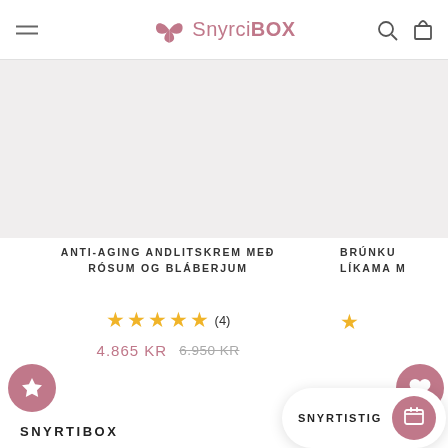SnyrtiBOX
ANTI-AGING ANDLITSKREM MEÐ RÓSUM OG BLÁBERJUM
★★★★★ (4)
4.865 KR  6.950 KR
BRÚNKU LÍKAMA M
SNYRTIBOX
Náttúrulegar snyrtivörur frá heimsins bestu framleiðendum. Eingöngu vefverslun fyrir náttúrule snyrtivörur.
SNYRTISTIG